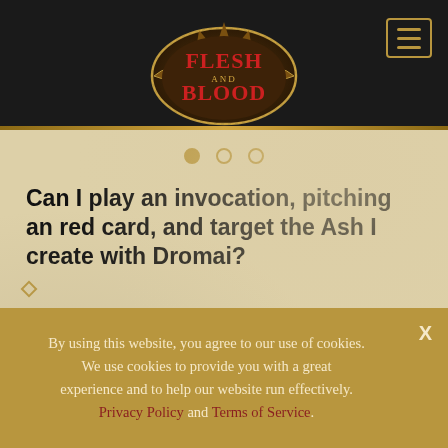Flesh and Blood (logo)
Can I play an invocation, pitching an red card, and target the Ash I create with Dromai?
No. Dromai's has a triggered ability that triggers when the player pitches a red card. When you play a card, you must first declare the targets of the card before you pay any resource
By using this website, you agree to our use of cookies. We use cookies to provide you with a great experience and to help our website run effectively. Privacy Policy and Terms of Service.